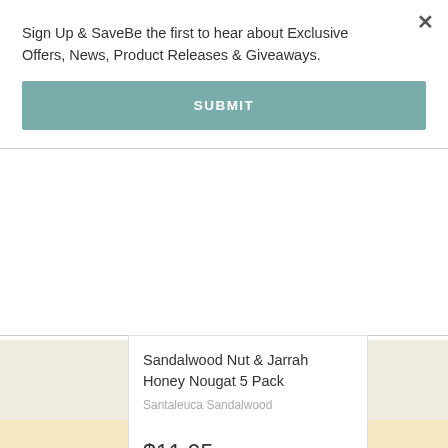Sign Up & SaveBe the first to hear about Exclusive Offers, News, Product Releases & Giveaways.
SUBMIT
Sandalwood Nut & Jarrah Honey Nougat 5 Pack
Santaleuca Sandalwood
$11.95